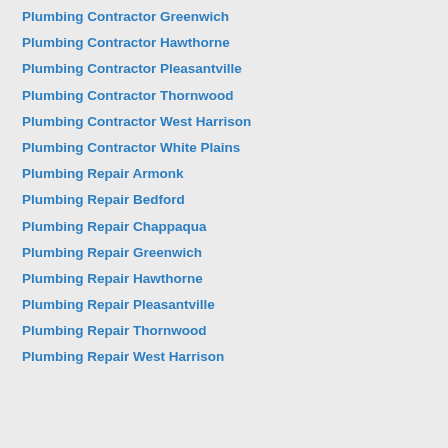Plumbing Contractor Greenwich
Plumbing Contractor Hawthorne
Plumbing Contractor Pleasantville
Plumbing Contractor Thornwood
Plumbing Contractor West Harrison
Plumbing Contractor White Plains
Plumbing Repair Armonk
Plumbing Repair Bedford
Plumbing Repair Chappaqua
Plumbing Repair Greenwich
Plumbing Repair Hawthorne
Plumbing Repair Pleasantville
Plumbing Repair Thornwood
Plumbing Repair West Harrison